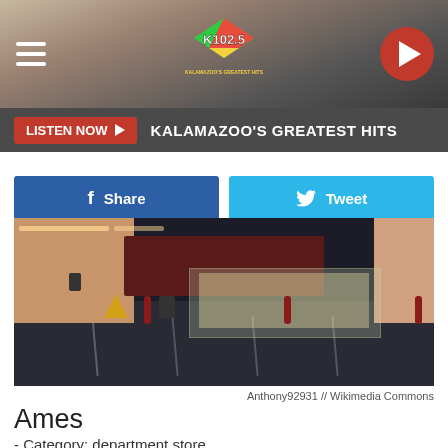[Figure (screenshot): K102.5 radio station website header with logo, hamburger menu, and play button]
LISTEN NOW ▶  KALAMAZOO'S GREATEST HITS
[Figure (screenshot): Facebook Share and Twitter Tweet social sharing buttons]
[Figure (photo): Exterior photo of an Ames department store at night showing entrance, parking lot, and storefront]
Anthony92931 // Wikimedia Commons
Ames
- Category: department store